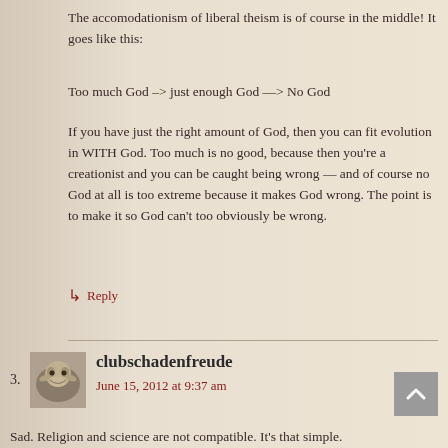The accomodationism of liberal theism is of course in the middle! It goes like this:
Too much God –> just enough God —> No God
If you have just the right amount of God, then you can fit evolution in WITH God. Too much is no good, because then you're a creationist and you can be caught being wrong — and of course no God at all is too extreme because it makes God wrong. The point is to make it so God can't too obviously be wrong.
↳ Reply
3.
clubschadenfreude
June 15, 2012 at 9:37 am
Sad. Religion and science are not compatible. It's that simple.